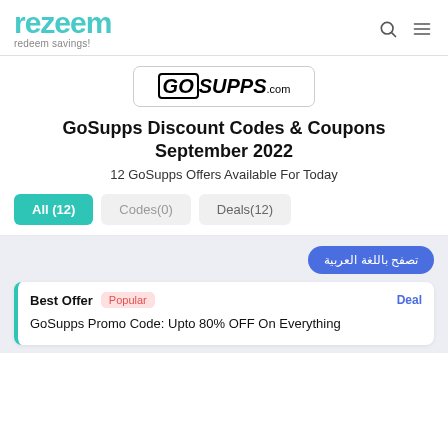rezeem — redeem savings!
[Figure (logo): GoSupps.com brand logo in a rounded rectangle box]
GoSupps Discount Codes & Coupons September 2022
12 GoSupps Offers Available For Today
All (12)
Codes(0)
Deals(12)
تصفح باللغة العربية
Best Offer  Popular  Deal
GoSupps Promo Code: Upto 80% OFF On Everything